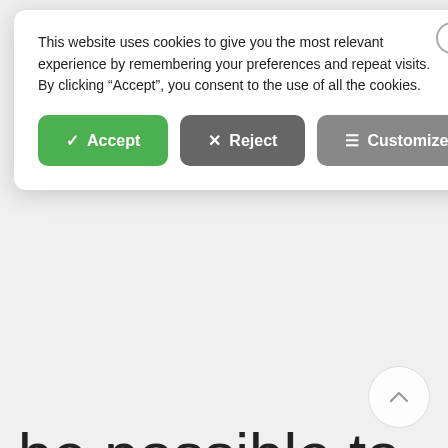This website uses cookies to give you the most relevant experience by remembering your preferences and repeat visits. By clicking “Accept”, you consent to the use of all the cookies.
[Figure (screenshot): Cookie consent banner with Accept (green), Reject (dark grey), and Customize (grey) buttons, plus a close X button in the top right corner.]
be possible to re-enable the cookie from the privacy preferences or, if you decide to keep the cookie block